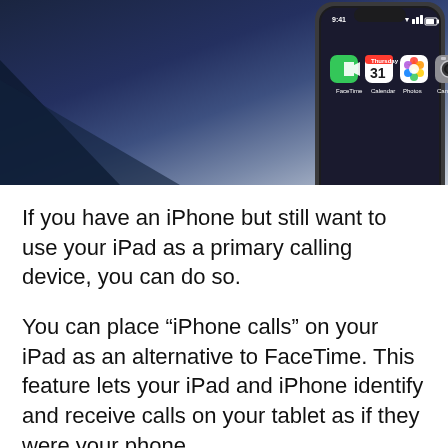[Figure (photo): iPhone X displayed against a dark blue background, showing the home screen with FaceTime, Calendar, Photos, and Camera app icons visible]
If you have an iPhone but still want to use your iPad as a primary calling device, you can do so.
You can place “iPhone calls” on your iPad as an alternative to FaceTime. This feature lets your iPad and iPhone identify and receive calls on your tablet as if they were your phone.
Keep in mind that these calls are routed